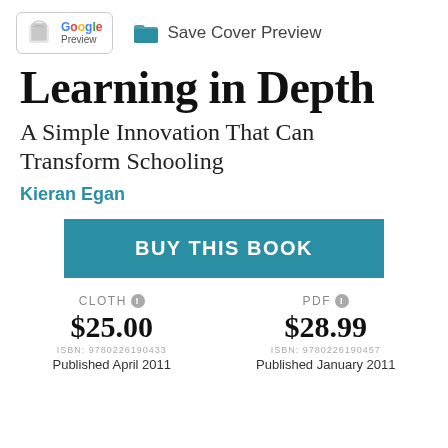[Figure (logo): Google Preview button with book icon and Google branding]
Save Cover Preview
Learning in Depth
A Simple Innovation That Can Transform Schooling
Kieran Egan
BUY THIS BOOK
CLOTH
$25.00
ISBN: 9780226190433
Published April 2011
PDF
$28.99
ISBN: 9780226190457
Published January 2011